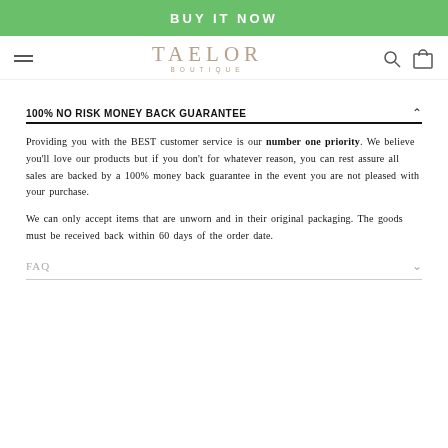BUY IT NOW
[Figure (logo): TAELOR BOUTIQUE logo with hamburger menu, search icon, and cart icon]
100% NO RISK MONEY BACK GUARANTEE
Providing you with the BEST customer service is our number one priority. We believe you'll love our products but if you don't for whatever reason, you can rest assure all sales are backed by a 100% money back guarantee in the event you are not pleased with your purchase.
We can only accept items that are unworn and in their original packaging. The goods must be received back within 60 days of the order date.
FAQ